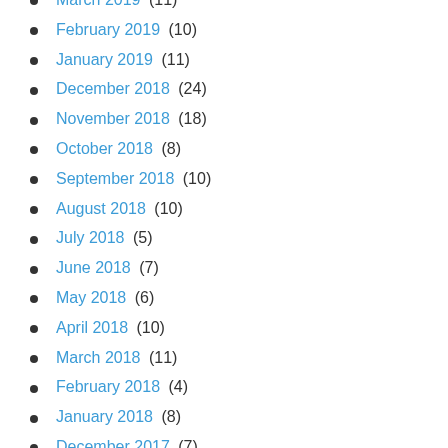March 2019 (11)
February 2019 (10)
January 2019 (11)
December 2018 (24)
November 2018 (18)
October 2018 (8)
September 2018 (10)
August 2018 (10)
July 2018 (5)
June 2018 (7)
May 2018 (6)
April 2018 (10)
March 2018 (11)
February 2018 (4)
January 2018 (8)
December 2017 (7)
November 2017 (3)